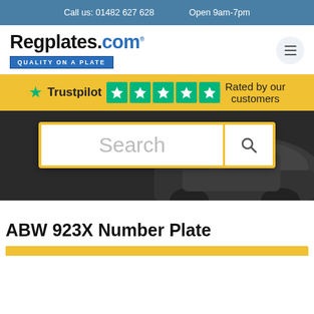Call us: 01482 627 628   Open 9am-7pm
[Figure (logo): Regplates.com logo with tagline 'Quality on a Plate' and hamburger menu icon]
Trustpilot ★★★★★ Rated by our customers
[Figure (screenshot): Dark car background with a yellow-bordered search box containing placeholder text 'Search' and a magnifying glass icon]
ABW 923X Number Plate